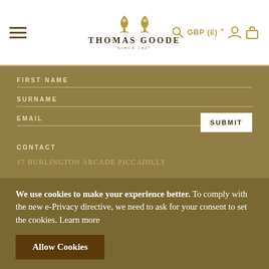Thomas Goode — Navigation header with logo, GBP (£) currency selector, account and basket icons
FIRST NAME
SURNAME
EMAIL — SUBMIT
CONTACT
We use cookies to make your experience better. To comply with the new e-Privacy directive, we need to ask for your consent to set the cookies. Learn more
Allow Cookies